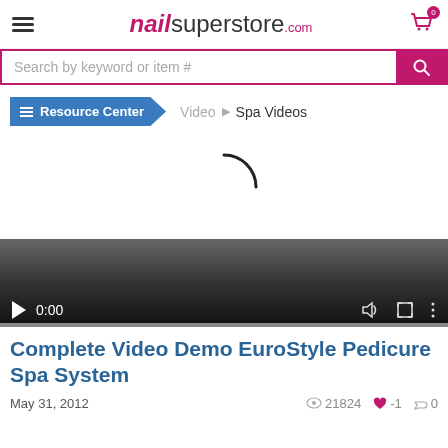nailsuperstore.com
Search by keyword or item #
Resource Center > Video > Spa Videos
[Figure (screenshot): Video player showing a loading spinner and controls with time 0:00]
Complete Video Demo EuroStyle Pedicure Spa System
May 31, 2012   21824   -1   0